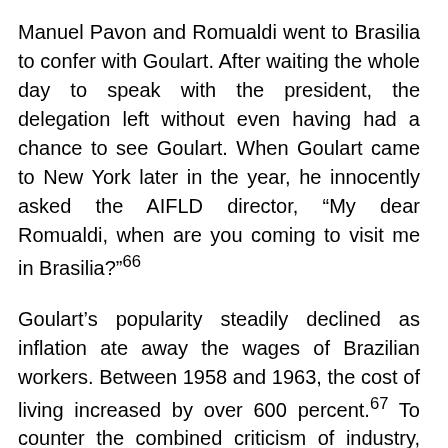Manuel Pavon and Romualdi went to Brasilia to confer with Goulart. After waiting the whole day to speak with the president, the delegation left without even having had a chance to see Goulart. When Goulart came to New York later in the year, he innocently asked the AIFLD director, “My dear Romualdi, when are you coming to visit me in Brasilia?”²⁶
Goulart’s popularity steadily declined as inflation ate away the wages of Brazilian workers. Between 1958 and 1963, the cost of living increased by over 600 percent.⁶⁷ To counter the combined criticism of industry, commerce, the military and the Church, Goulart began to take his case to the workers and oppressed people of Brazil’s countryside. But Romualdi and his allies had other plans.